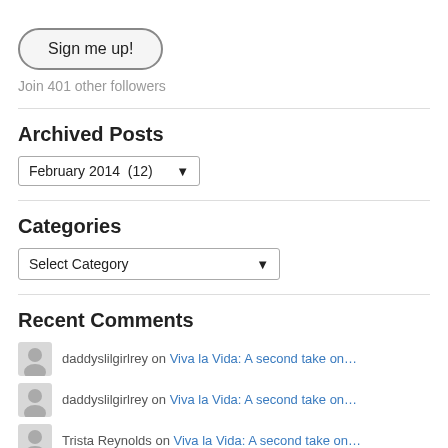[Figure (other): Sign me up! button with rounded border]
Join 401 other followers
Archived Posts
[Figure (other): Dropdown selector showing February 2014 (12)]
Categories
[Figure (other): Dropdown selector showing Select Category]
Recent Comments
daddyslilgirlrey on Viva la Vida: A second take on…
daddyslilgirlrey on Viva la Vida: A second take on…
Trista Reynolds on Viva la Vida: A second take on…